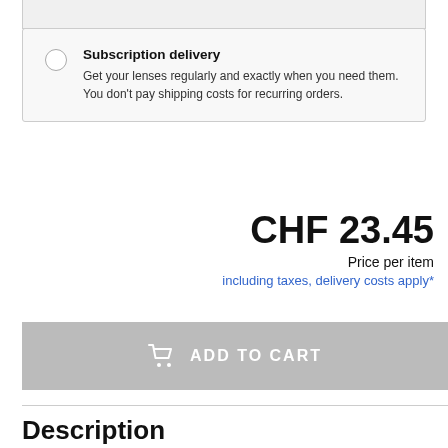Subscription delivery
Get your lenses regularly and exactly when you need them.
You don't pay shipping costs for recurring orders.
CHF 23.45
Price per item
including taxes, delivery costs apply*
ADD TO CART
Description
Focus Dailies 30 lenses are soft daily disposable contact lenses made from nelfilcon A with a water content of 69%. The material is highly oxygen permeable and ensures that the lenses remain comfortable for a long period of